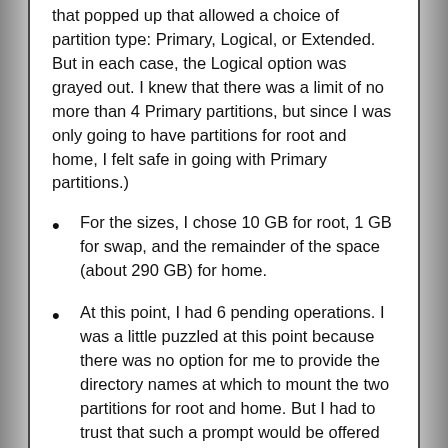that popped up that allowed a choice of partition type: Primary, Logical, or Extended. But in each case, the Logical option was grayed out. I knew that there was a limit of no more than 4 Primary partitions, but since I was only going to have partitions for root and home, I felt safe in going with Primary partitions.)
For the sizes, I chose 10 GB for root, 1 GB for swap, and the remainder of the space (about 290 GB) for home.
At this point, I had 6 pending operations. I was a little puzzled at this point because there was no option for me to provide the directory names at which to mount the two partitions for root and home. But I had to trust that such a prompt would be offered later, so I clicked an Apply button to apply the 6 operations.
The deletions were performed and the 3 partitions were created. I exited Gparted.
When I returned to the window that was